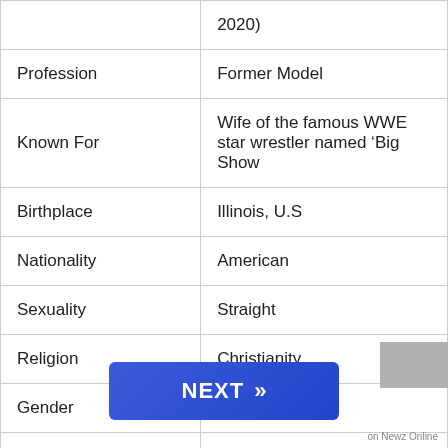| Attribute | Value |
| --- | --- |
|  | 2020) |
| Profession | Former Model |
| Known For | Wife of the famous WWE star wrestler named ‘Big Show |
| Birthplace | Illinois, U.S |
| Nationality | American |
| Sexuality | Straight |
| Religion | Christianity |
| Gender | Female |
| Ethnicity | Caucasian |